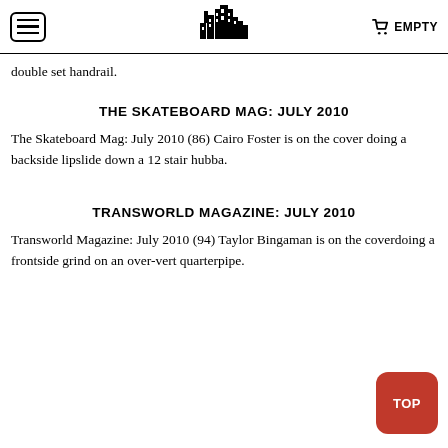EMPTY
double set handrail.
THE SKATEBOARD MAG: JULY 2010
The Skateboard Mag: July 2010 (86) Cairo Foster is on the cover doing a backside lipslide down a 12 stair hubba.
TRANSWORLD MAGAZINE: JULY 2010
Transworld Magazine: July 2010 (94) Taylor Bingaman is on the coverdoing a frontside grind on an over-vert quarterpipe.